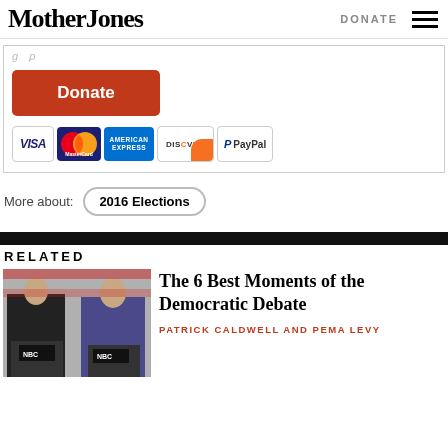Mother Jones | DONATE
[Figure (screenshot): Donate button and payment method icons (Visa, MasterCard, American Express, Discover, PayPal) inside a bordered box]
More about: 2016 Elections
RELATED
[Figure (photo): Photo of two Democratic debate candidates at podiums with NBC logo banners]
The 6 Best Moments of the Democratic Debate
PATRICK CALDWELL AND PEMA LEVY